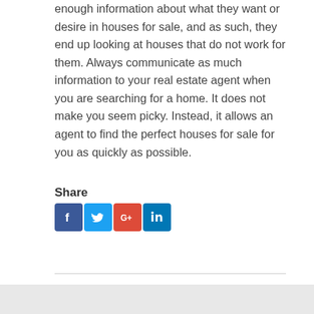enough information about what they want or desire in houses for sale, and as such, they end up looking at houses that do not work for them. Always communicate as much information to your real estate agent when you are searching for a home. It does not make you seem picky. Instead, it allows an agent to find the perfect houses for sale for you as quickly as possible.
Share
[Figure (infographic): Social share buttons: Facebook, Twitter, Google+, LinkedIn]